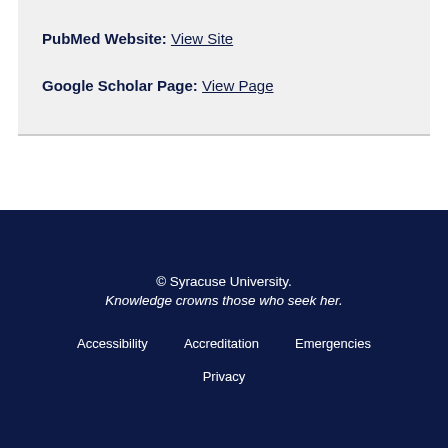PubMed Website: View Site
Google Scholar Page: View Page
© Syracuse University. Knowledge crowns those who seek her. Accessibility Accreditation Emergencies Privacy